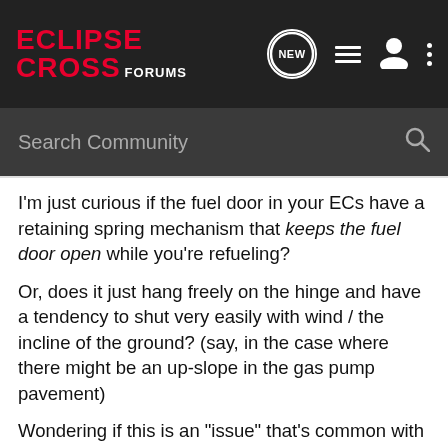ECLIPSE CROSS FORUMS
Search Community
I'm just curious if the fuel door in your ECs have a retaining spring mechanism that keeps the fuel door open while you're refueling?

Or, does it just hang freely on the hinge and have a tendency to shut very easily with wind / the incline of the ground? (say, in the case where there might be an up-slope in the gas pump pavement)


Wondering if this is an "issue" that's common with ECs across the world, or maybe just in this region, or perhaps just with mine.

The reason I ask is, I'd think that, much like with older vehicles,